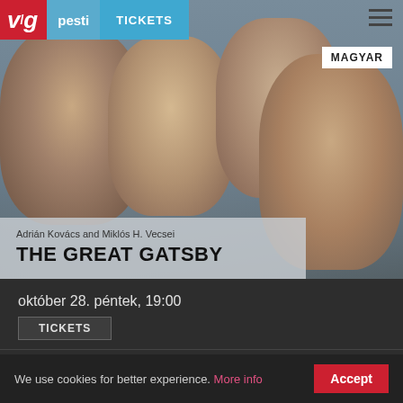[Figure (photo): Theater promotional photo showing four actors (three men and one woman) with tears on their faces, dressed in formal/vintage attire. Website screenshot from Vígszínház / Pesti Színház theater website.]
vig | pesti | TICKETS | MAGYAR
Adrián Kovács and Miklós H. Vecsei
THE GREAT GATSBY
október 28. péntek, 19:00
TICKETS
október 29. szombat, 19:00
TICKETS
We use cookies for better experience. More info  Accept